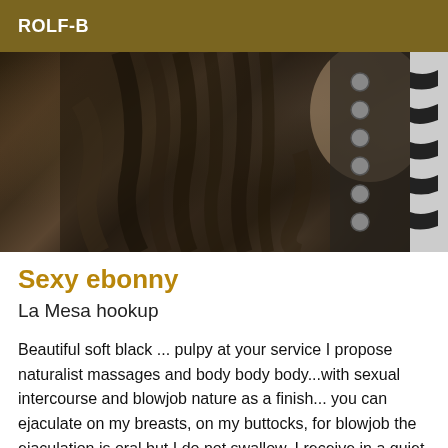ROLF-B
[Figure (photo): Close-up photo of a person with dark braided/dreadlocked hair, wearing a dark patterned garment with circular studs/buttons on the right side and a zebra-print fabric visible at the edge.]
Sexy ebonny
La Mesa hookup
Beautiful soft black ... pulpy at your service I propose naturalist massages and body body body...with sexual intercourse and blowjob nature as a finish... you can ejaculate on my breasts, on my buttocks, for blowjob the ejaculation is oral but I do not swallow. I receive in a quiet and discreet private apartment. I also receive